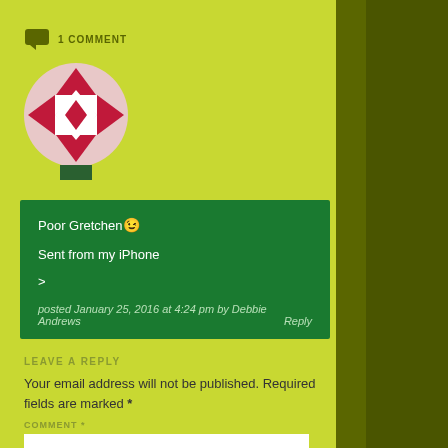1 COMMENT
[Figure (illustration): Decorative avatar with geometric diamond/star pattern in red, white, and pink, circular shape with green stand below]
Poor Gretchen 😉

Sent from my iPhone

>
posted January 25, 2016 at 4:24 pm by Debbie Andrews    Reply
LEAVE A REPLY
Your email address will not be published. Required fields are marked *
COMMENT *